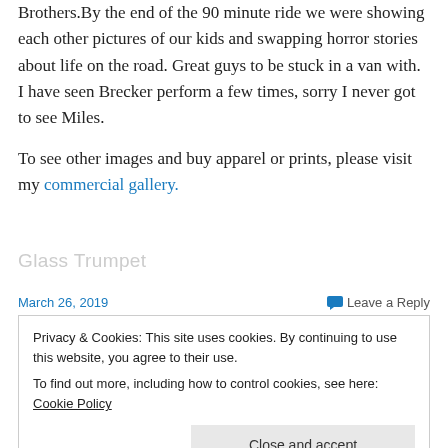Brothers.By the end of the 90 minute ride we were showing each other pictures of our kids and swapping horror stories about life on the road. Great guys to be stuck in a van with. I have seen Brecker perform a few times, sorry I never got to see Miles.
To see other images and buy apparel or prints, please visit my commercial gallery.
Glass Trumpet
March 26, 2019
Leave a Reply
Privacy & Cookies: This site uses cookies. By continuing to use this website, you agree to their use.
To find out more, including how to control cookies, see here: Cookie Policy
Close and accept